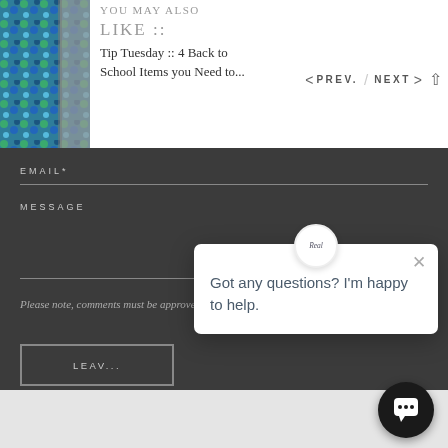YOU MAY ALSO
LIKE ::
Tip Tuesday :: 4 Back to School Items you Need to...
< PREV. / NEXT >
[Figure (screenshot): Product image thumbnail showing a patterned bag/organizer in blue/teal colors with a gray interior visible]
EMAIL*
MESSAGE
Please note, comments must be approved before they are published
LEAVE A COMMENT
[Figure (screenshot): Chat popup overlay with close X button, avatar logo reading 'Reef', and text 'Got any questions? I'm happy to help.']
[Figure (screenshot): Black circular chat button with speech bubble icon in bottom right corner]